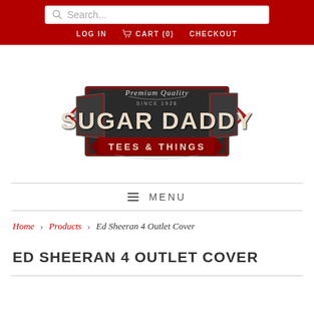Search... LOG IN  CART (0)  CHECKOUT
[Figure (logo): Sugar Daddy Tees & Things logo with Premium Quality Since 1928 banner, dark badge style with red accents]
MENU
Home › Products › Ed Sheeran 4 Outlet Cover
ED SHEERAN 4 OUTLET COVER